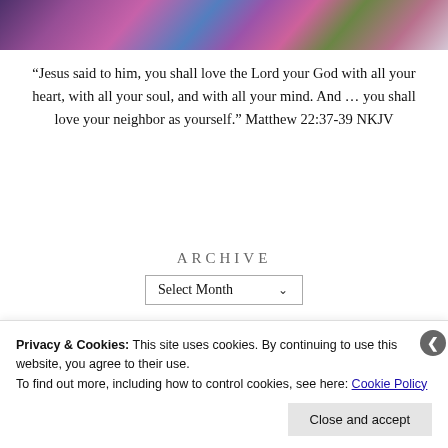[Figure (photo): Cropped photo of a person wearing a colorful sequined or patterned jacket/garment with blue, pink, purple and green tones]
“Jesus said to him, you shall love the Lord your God with all your heart, with all your soul, and with all your mind. And … you shall love your neighbor as yourself.” Matthew 22:37-39 NKJV
ARCHIVE
Select Month
Privacy & Cookies: This site uses cookies. By continuing to use this website, you agree to their use.
To find out more, including how to control cookies, see here: Cookie Policy
Close and accept